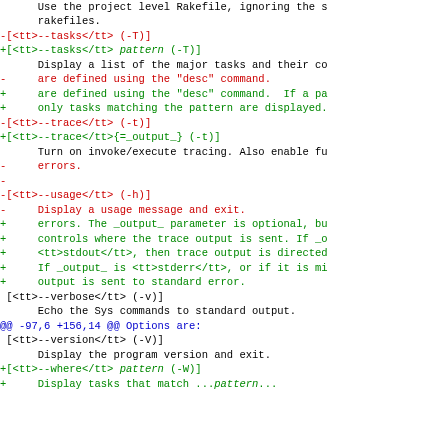Use the project level Rakefile, ignoring the s... rakefiles.
-[<tt>--tasks</tt> (-T)]
+[<tt>--tasks</tt> <em>pattern</em> (-T)]
Display a list of the major tasks and their co...
- are defined using the "desc" command.
+ are defined using the "desc" command. If a pa...
+ only tasks matching the pattern are displayed.
-[<tt>--trace</tt> (-t)]
+[<tt>--trace</tt>{=_output_} (-t)]
Turn on invoke/execute tracing. Also enable fu...
- errors.
-
-[<tt>--usage</tt> (-h)]
- Display a usage message and exit.
+ errors. The _output_ parameter is optional, bu...
+ controls where the trace output is sent. If _o...
+ <tt>stdout</tt>, then trace output is directed...
+ If _output_ is <tt>stderr</tt>, or if it is mi...
+ output is sent to standard error.
[<tt>--verbose</tt> (-v)]
Echo the Sys commands to standard output.
@@ -97,6 +156,14 @@ Options are:
[<tt>--version</tt> (-V)]
Display the program version and exit.
+[<tt>--where</tt> <em>pattern</em> (-W)]
+ Display tasks that match ...pattern</em>...